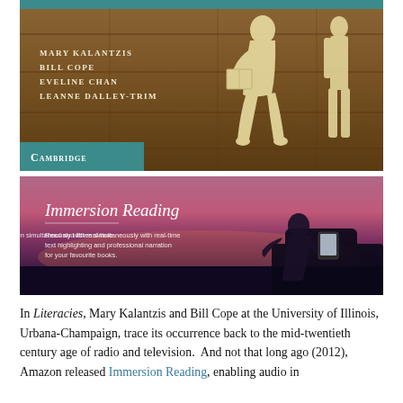[Figure (illustration): Cambridge University Press book cover for 'Literacies' by Mary Kalantzis, Bill Cope, Eveline Chan, Leanne Dalley-Trim. Dark wood grain background with paper cutout silhouette of a person reading. Teal Cambridge logo bar at bottom left.]
[Figure (photo): Amazon Immersion Reading promotional image. Woman silhouetted against a purple/pink sunset sky, sitting by a car holding a Kindle device. Text overlay reads 'Immersion Reading' with subtitle 'Read and listen simultaneously with real-time text highlighting and professional narration for your favourite books.']
In Literacies, Mary Kalantzis and Bill Cope at the University of Illinois, Urbana-Champaign, trace its occurrence back to the mid-twentieth century age of radio and television. And not that long ago (2012), Amazon released Immersion Reading, enabling audio in